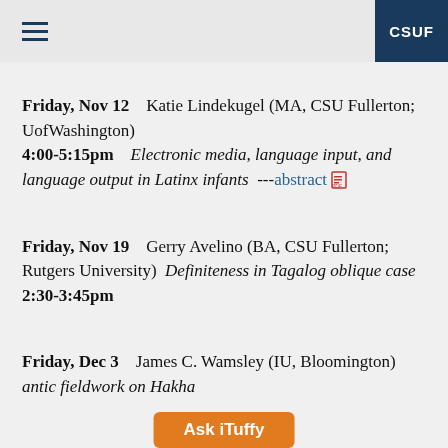CSUF
Friday, Nov 12    Katie Lindekugel (MA, CSU Fullerton; UofWashington)
4:00-5:15pm    Electronic media, language input, and language output in Latinx infants  ---abstract
Friday, Nov 19    Gerry Avelino (BA, CSU Fullerton; Rutgers University)  Definiteness in Tagalog oblique case  2:30-3:45pm
Friday, Dec 3    James C. Wamsley (IU, Bloomington)  ...antic fieldwork on Hakha